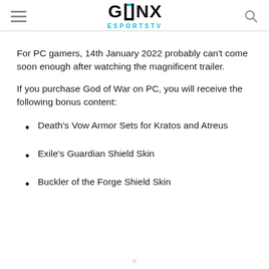GINX ESPORTS TV
For PC gamers, 14th January 2022 probably can't come soon enough after watching the magnificent trailer.
If you purchase God of War on PC, you will receive the following bonus content:
Death's Vow Armor Sets for Kratos and Atreus
Exile's Guardian Shield Skin
Buckler of the Forge Shield Skin